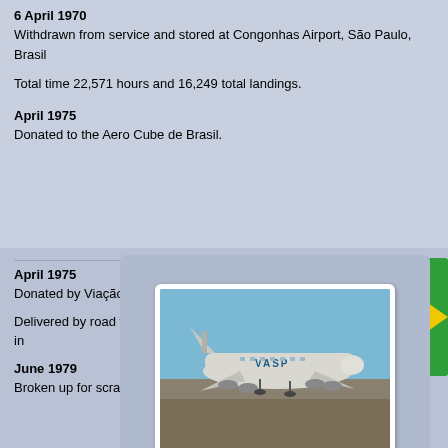6 April 1970
Withdrawn from service and stored at Congonhas Airport, São Paulo, Brasil
Total time 22,571 hours and 16,249 total landings.
April 1975
Donated to the Aero Cube de Brasil.
[Figure (photo): VASP airline propeller aircraft parked on tarmac, side view, with VASP livery visible on fuselage]
[Figure (photo): Partial view of Brazilian flag (green and yellow)]
April
Aer
PP-S
Bras
April 1975
Donated by Viação Aérea São Paulo SA (VASP).
Delivered by road to Jacarepagua, Rio de Janeiro, Brasil for preservation in
June 1979
Broken up for scrap.